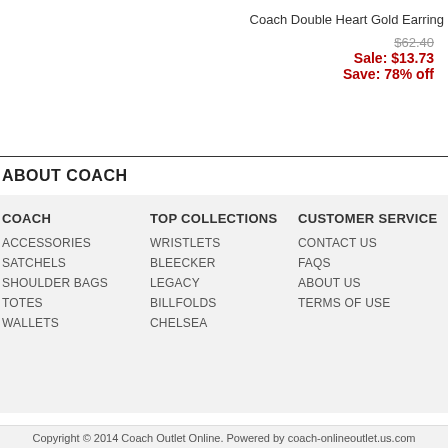Coach Double Heart Gold Earring
$62.40
Sale: $13.73
Save: 78% off
ABOUT COACH
COACH
TOP COLLECTIONS
CUSTOMER SERVICE
ACCESSORIES
SATCHELS
SHOULDER BAGS
TOTES
WALLETS
WRISTLETS
BLEECKER
LEGACY
BILLFOLDS
CHELSEA
CONTACT US
FAQS
ABOUT US
TERMS OF USE
Copyright © 2014 Coach Outlet Online. Powered by coach-onlineoutlet.us.com